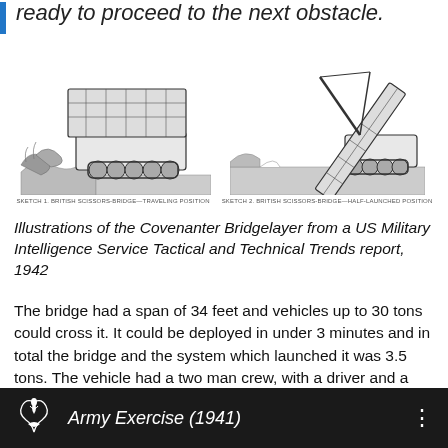ready to proceed to the next obstacle.
[Figure (illustration): Two illustrations of the Covenanter Bridgelayer tank from a US Military Intelligence Service report. Left image shows the vehicle in travel position with bridge folded on top. Right image shows the bridge being deployed/raised at an angle. Each has a small caption below.]
Illustrations of the Covenanter Bridgelayer from a US Military Intelligence Service Tactical and Technical Trends report, 1942
The bridge had a span of 34 feet and vehicles up to 30 tons could cross it. It could be deployed in under 3 minutes and in total the bridge and the system which launched it was 3.5 tons. The vehicle had a two man crew, with a driver and a commander.
Army Exercise (1941)